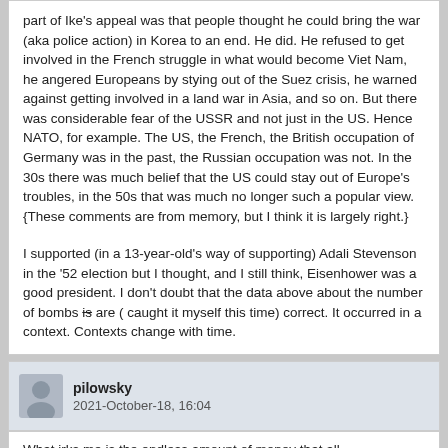part of Ike's appeal was that people thought he could bring the war (aka police action) in Korea to an end. He did. He refused to get involved in the French struggle in what would become Viet Nam, he angered Europeans by stying out of the Suez crisis, he warned against getting involved in a land war in Asia, and so on. But there was considerable fear of the USSR and not just in the US. Hence NATO, for example. The US, the French, the British occupation of Germany was in the past, the Russian occupation was not. In the 30s there was much belief that the US could stay out of Europe's troubles, in the 50s that was much no longer such a popular view. {These comments are from memory, but I think it is largely right.}
I supported (in a 13-year-old's way of supporting) Adali Stevenson in the '52 election but I thought, and I still think, Eisenhower was a good president. I don't doubt that the data above about the number of bombs is are ( caught it myself this time) correct. It occurred in a context. Contexts change with time.
pilowsky
2021-October-18, 16:04
What irks me is the endless amount of money that all